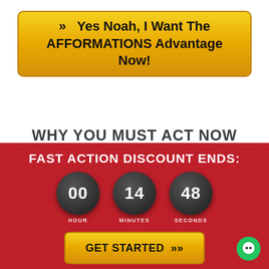» Yes Noah, I Want The AFFORMATIONS Advantage Now!
WHY YOU MUST ACT NOW
FAST ACTION DISCOUNT ENDS:
00 HOUR  14 MINUTES  48 SECONDS
GET STARTED »